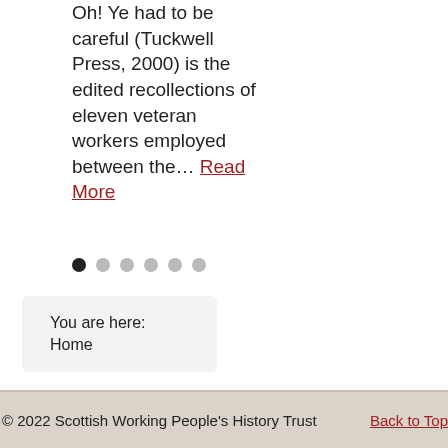Oh! Ye had to be careful (Tuckwell Press, 2000) is the edited recollections of eleven veteran workers employed between the… Read More
[Figure (other): Pagination dots: one filled black dot followed by five grey dots]
You are here:
Home
© 2022 Scottish Working People's History Trust   Back to Top